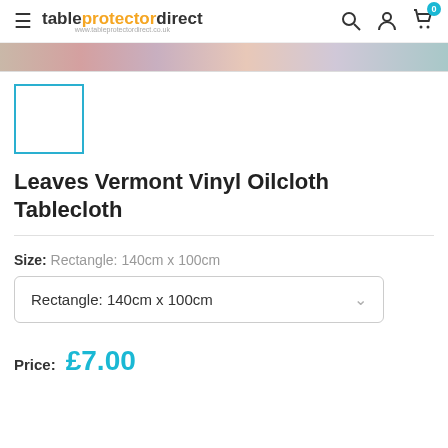tableprotectordirect — navigation header with logo, search, account, and cart icons
[Figure (photo): Horizontal strip showing partial product images of various tablecloth patterns]
[Figure (photo): Selected thumbnail box with blue border outline (empty/white)]
Leaves Vermont Vinyl Oilcloth Tablecloth
Size: Rectangle: 140cm x 100cm
Rectangle: 140cm x 100cm (dropdown)
Price: £7.00